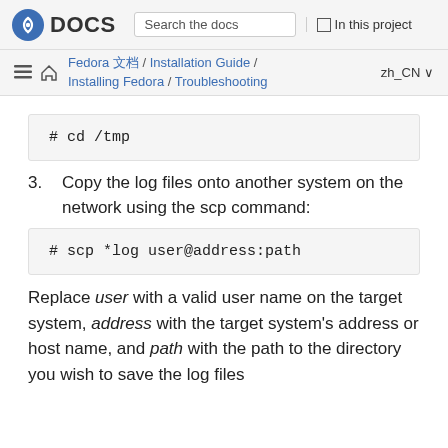DOCS | Search the docs | In this project
Fedora 文档 / Installation Guide / Installing Fedora / Troubleshooting | zh_CN
[Figure (screenshot): Code block showing: # cd /tmp]
3. Copy the log files onto another system on the network using the scp command:
[Figure (screenshot): Code block showing: # scp *log user@address:path]
Replace user with a valid user name on the target system, address with the target system's address or host name, and path with the path to the directory you wish to save the log files into. For example, if you want to log into...